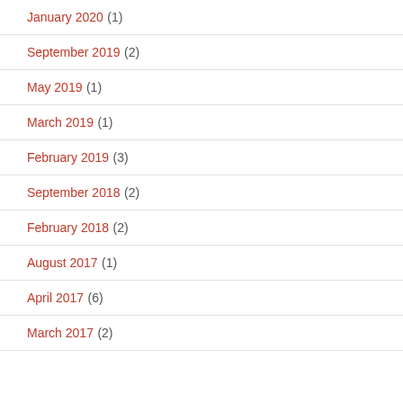January 2020 (1)
September 2019 (2)
May 2019 (1)
March 2019 (1)
February 2019 (3)
September 2018 (2)
February 2018 (2)
August 2017 (1)
April 2017 (6)
March 2017 (2)